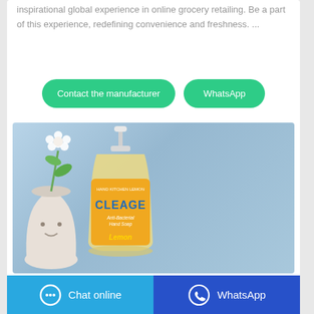inspirational global experience in online grocery retailing. Be a part of this experience, redefining convenience and freshness. ...
Contact the manufacturer
WhatsApp
[Figure (photo): Product photo of CLEAGE Lemon hand/dish soap pump bottle in yellow packaging with a white vase and flower in the background against a blue-grey backdrop]
Chat online
WhatsApp